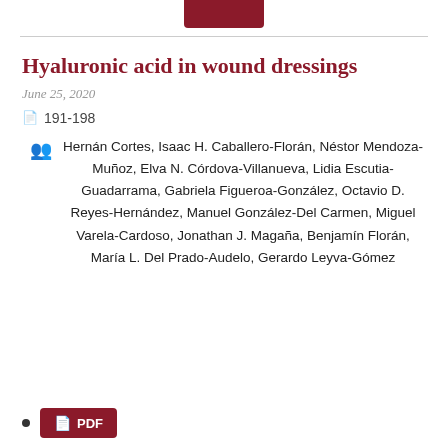Hyaluronic acid in wound dressings
June 25, 2020
191-198
Hernán Cortes, Isaac H. Caballero-Florán, Néstor Mendoza-Muñoz, Elva N. Córdova-Villanueva, Lidia Escutia-Guadarrama, Gabriela Figueroa-González, Octavio D. Reyes-Hernández, Manuel González-Del Carmen, Miguel Varela-Cardoso, Jonathan J. Magaña, Benjamín Florán, María L. Del Prado-Audelo, Gerardo Leyva-Gómez